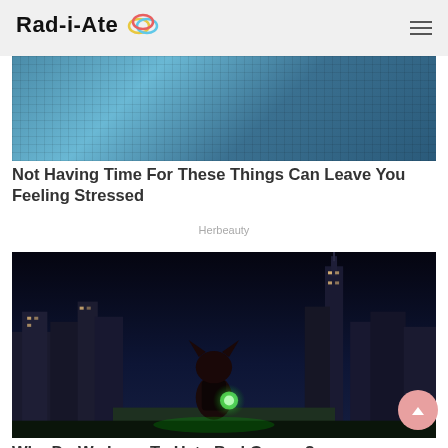Rad-i-Ate
[Figure (photo): Pixelated tile or mosaic texture in blue tones]
Not Having Time For These Things Can Leave You Feeling Stressed
Herbeauty
[Figure (photo): Shadow the Hedgehog (Sonic franchise character) holding a glowing green chaos emerald in a night city scene with skyscrapers and Empire State Building visible]
Why Do We Love To Hate Bad Games?
Brainberries